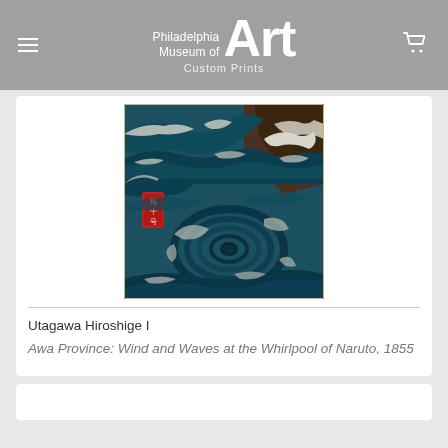Philadelphia Museum of Art — Custom Prints
[Figure (photo): Japanese woodblock print showing turbulent ocean waves with a whirlpool, by Utagawa Hiroshige I. Dark teal/blue waves with white foam, a swirling whirlpool in the lower center, rocky cliffs in the upper right, and a red cartouche with Japanese text in the left center area.]
Utagawa Hiroshige I
Awa Province: Wind and Waves at the Whirlpool of Naruto, 1855